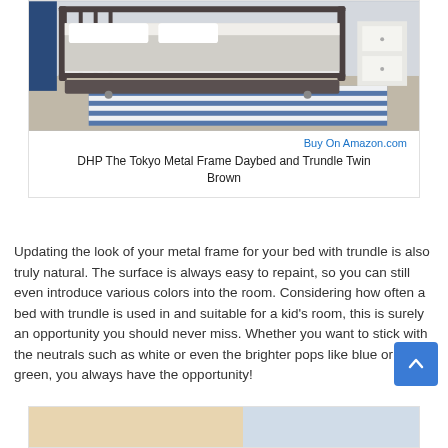[Figure (photo): Photo of a metal frame daybed with trundle in a bedroom setting with blue striped rug and white bedding]
Buy On Amazon.com
DHP The Tokyo Metal Frame Daybed and Trundle Twin Brown
Updating the look of your metal frame for your bed with trundle is also truly natural. The surface is always easy to repaint, so you can still even introduce various colors into the room. Considering how often a bed with trundle is used in and suitable for a kid's room, this is surely an opportunity you should never miss. Whether you want to stick with the neutrals such as white or even the brighter pops like blue or green, you always have the opportunity!
[Figure (photo): Bottom product image partially visible]